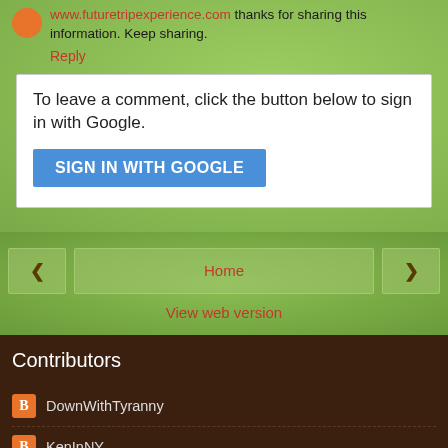www.futuretripexperience.com thanks for sharing this information. Keep sharing.
Reply
To leave a comment, click the button below to sign in with Google.
SIGN IN WITH GOOGLE
< Home >
View web version
Contributors
DownWithTyranny
KenInNY
Powered by Blogger.